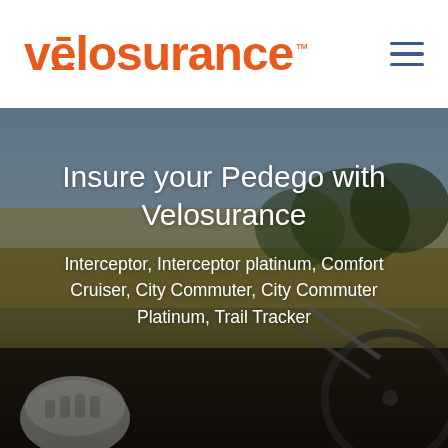[Figure (logo): Velosurance orange logo with macron over the e and TM mark]
[Figure (photo): Outdoor scene with bicycles, helmet, grass field and trees in the background, dark-toned hero image]
Insure your Pedego with Velosurance
Interceptor, Interceptor platinum, Comfort Cruiser, City Commuter, City Commuter Platinum, Trail Tracker